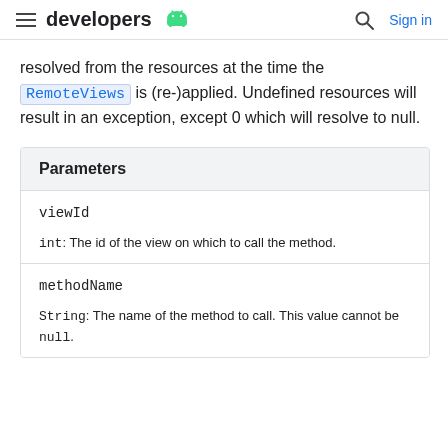developers
resolved from the resources at the time the RemoteViews is (re-)applied. Undefined resources will result in an exception, except 0 which will resolve to null.
| Parameters |
| --- |
| viewId | int: The id of the view on which to call the method. |
| methodName | String: The name of the method to call. This value cannot be null. |